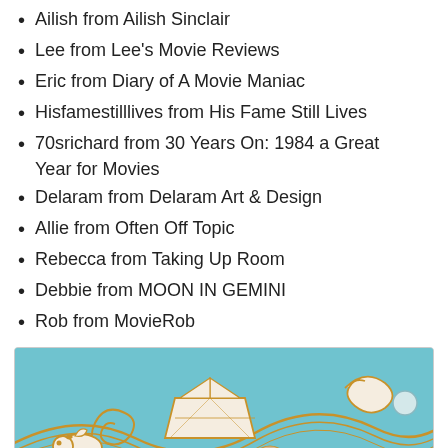Ailish from Ailish Sinclair
Lee from Lee's Movie Reviews
Eric from Diary of A Movie Maniac
Hisfamestilllives from His Fame Still Lives
70srichard from 30 Years On: 1984 a Great Year for Movies
Delaram from Delaram Art & Design
Allie from Often Off Topic
Rebecca from Taking Up Room
Debbie from MOON IN GEMINI
Rob from MovieRob
[Figure (illustration): A decorative nautical illustration on a teal background featuring paper boats, a stylized fish/seahorse, shells, and wave patterns in golden/brown and teal tones.]